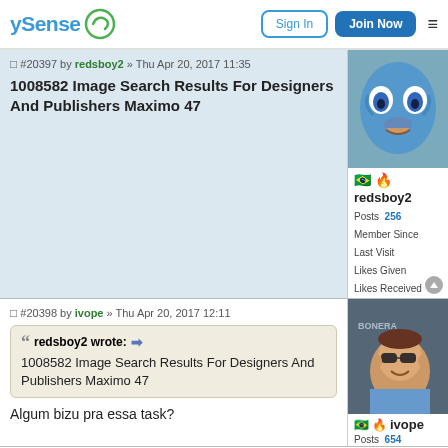ySense — Sign In | Join Now
#20397 by redsboy2 » Thu Apr 20, 2017 11:35
1008582 Image Search Results For Designers And Publishers Maximo 47
Posts 256 | Member Since | Last Visit | Likes Given | Likes Received
#20398 by ivope » Thu Apr 20, 2017 12:11
redsboy2 wrote: 1008582 Image Search Results For Designers And Publishers Maximo 47
Algum bizu pra essa task?
ivope | Posts 654